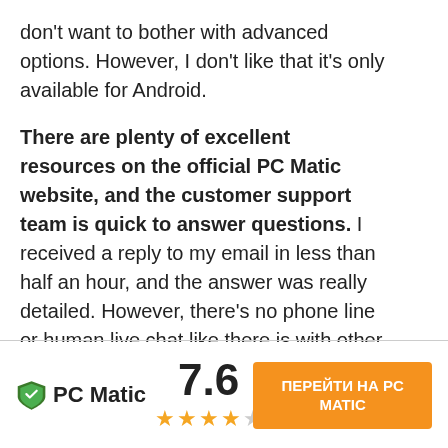don't want to bother with advanced options. However, I don't like that it's only available for Android.
There are plenty of excellent resources on the official PC Matic website, and the customer support team is quick to answer questions. I received a reply to my email in less than half an hour, and the answer was really detailed. However, there's no phone line or human live chat like there is with other antiviruses such as Norton or TotalAV. The AI-powered live chatbot is useful for basic questions, though.
[Figure (logo): PC Matic logo with green shield icon and bold text 'PC Matic', score 7.6, four filled stars and one gray star, and an orange CTA button with Cyrillic text 'ПЕРЕЙТИ НА PC MATIC']